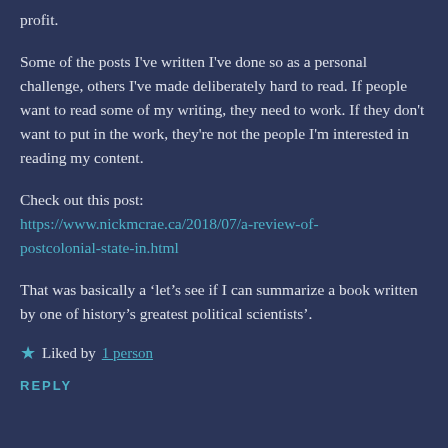profit.
Some of the posts I've written I've done so as a personal challenge, others I've made deliberately hard to read. If people want to read some of my writing, they need to work. If they don't want to put in the work, they're not the people I'm interested in reading my content.
Check out this post:
https://www.nickmcrae.ca/2018/07/a-review-of-postcolonial-state-in.html
That was basically a ‘let’s see if I can summarize a book written by one of history’s greatest political scientists’.
Liked by 1 person
REPLY